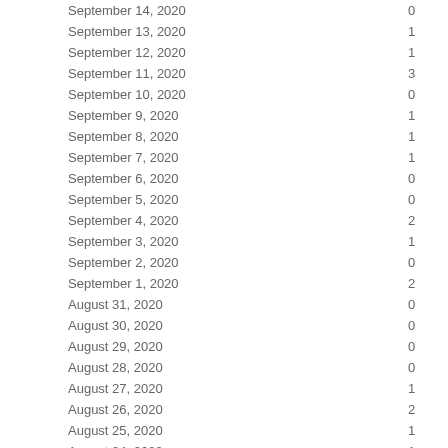| Date | Value |
| --- | --- |
| September 14, 2020 | 0 |
| September 13, 2020 | 1 |
| September 12, 2020 | 1 |
| September 11, 2020 | 3 |
| September 10, 2020 | 0 |
| September 9, 2020 | 1 |
| September 8, 2020 | 1 |
| September 7, 2020 | 1 |
| September 6, 2020 | 0 |
| September 5, 2020 | 0 |
| September 4, 2020 | 2 |
| September 3, 2020 | 1 |
| September 2, 2020 | 0 |
| September 1, 2020 | 2 |
| August 31, 2020 | 0 |
| August 30, 2020 | 0 |
| August 29, 2020 | 0 |
| August 28, 2020 | 0 |
| August 27, 2020 | 1 |
| August 26, 2020 | 2 |
| August 25, 2020 | 1 |
| August 24, 2020 | 1 |
| August 23, 2020 | 0 |